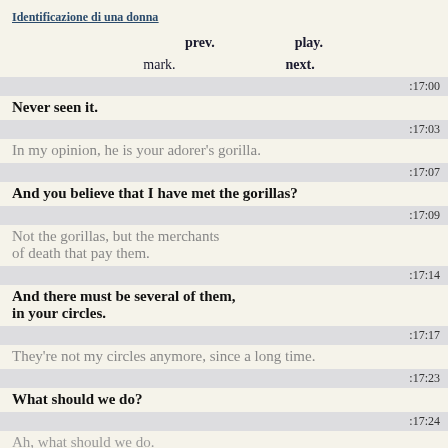Identificazione di una donna
prev.    play.
mark.    next.
:17:00
Never seen it.
:17:03
In my opinion, he is your adorer's gorilla.
:17:07
And you believe that I have met the gorillas?
:17:09
Not the gorillas, but the merchants
of death that pay them.
:17:14
And there must be several of them,
in your circles.
:17:17
They're not my circles anymore, since a long time.
:17:23
What should we do?
:17:24
Ah, what should we do.